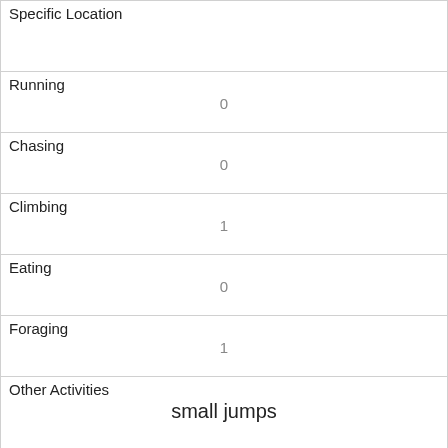| Specific Location |  |
| Running | 0 |
| Chasing | 0 |
| Climbing | 1 |
| Eating | 0 |
| Foraging | 1 |
| Other Activities | small jumps |
| Kuks | 0 |
| Quaas | 0 |
| Moans | 0 |